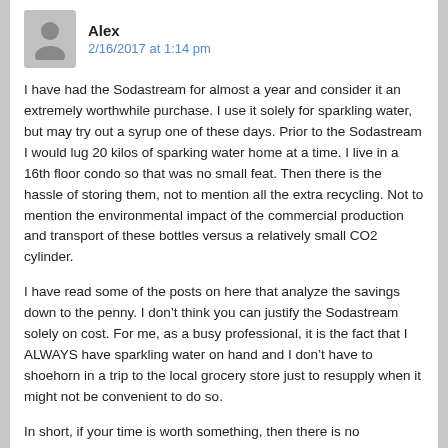Alex
2/16/2017 at 1:14 pm
I have had the Sodastream for almost a year and consider it an extremely worthwhile purchase. I use it solely for sparkling water, but may try out a syrup one of these days. Prior to the Sodastream I would lug 20 kilos of sparking water home at a time. I live in a 16th floor condo so that was no small feat. Then there is the hassle of storing them, not to mention all the extra recycling. Not to mention the environmental impact of the commercial production and transport of these bottles versus a relatively small CO2 cylinder.
I have read some of the posts on here that analyze the savings down to the penny. I don’t think you can justify the Sodastream solely on cost. For me, as a busy professional, it is the fact that I ALWAYS have sparkling water on hand and I don’t have to shoehorn in a trip to the local grocery store just to resupply when it might not be convenient to do so.
In short, if your time is worth something, then there is no